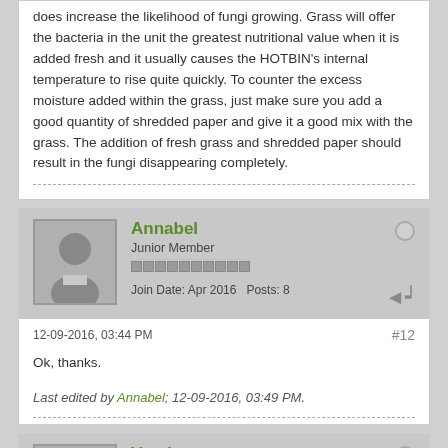does increase the likelihood of fungi growing. Grass will offer the bacteria in the unit the greatest nutritional value when it is added fresh and it usually causes the HOTBIN's internal temperature to rise quite quickly. To counter the excess moisture added within the grass, just make sure you add a good quantity of shredded paper and give it a good mix with the grass. The addition of fresh grass and shredded paper should result in the fungi disappearing completely.
Annabel
Junior Member
Join Date: Apr 2016   Posts: 8
12-09-2016, 03:44 PM
#12
Ok, thanks.
Last edited by Annabel; 12-09-2016, 03:49 PM.
Vusti
Junior Member